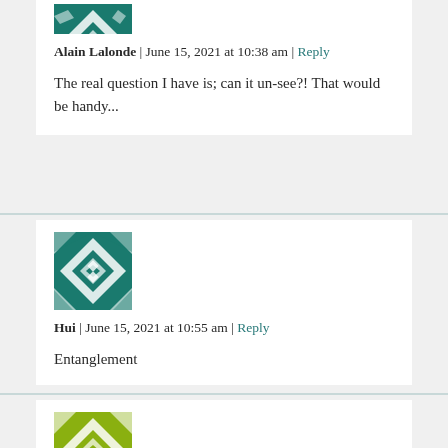[Figure (illustration): Teal geometric quilt-pattern avatar for Alain Lalonde, partially visible at top]
Alain Lalonde | June 15, 2021 at 10:38 am | Reply
The real question I have is; can it un-see?! That would be handy...
[Figure (illustration): Teal geometric quilt-pattern avatar for Hui, fully visible]
Hui | June 15, 2021 at 10:55 am | Reply
Entanglement
[Figure (illustration): Yellow-green geometric quilt-pattern avatar, partially visible at bottom]